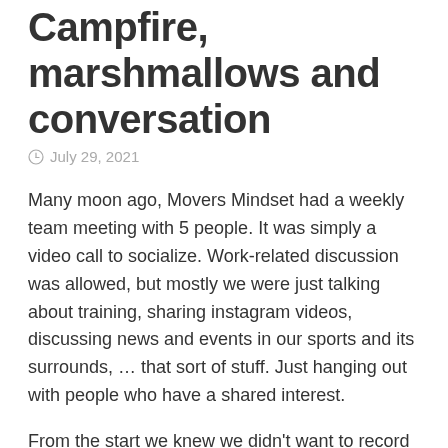Campfire, marshmallows and conversation
July 29, 2021
Many moon ago, Movers Mindset had a weekly team meeting with 5 people. It was simply a video call to socialize. Work-related discussion was allowed, but mostly we were just talking about training, sharing instagram videos, discussing news and events in our sports and its surrounds, … that sort of stuff. Just hanging out with people who have a shared interest.
From the start we knew we didn't want to record those